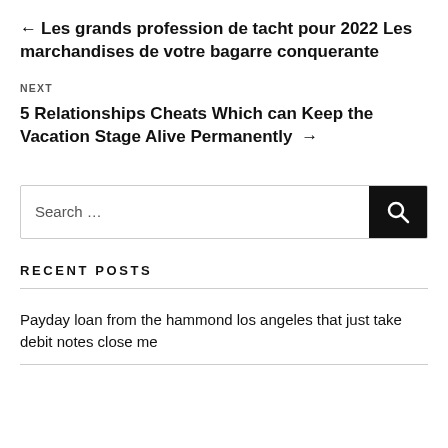← Les grands profession de tacht pour 2022 Les marchandises de votre bagarre conquerante
NEXT
5 Relationships Cheats Which can Keep the Vacation Stage Alive Permanently →
Search …
RECENT POSTS
Payday loan from the hammond los angeles that just take debit notes close me